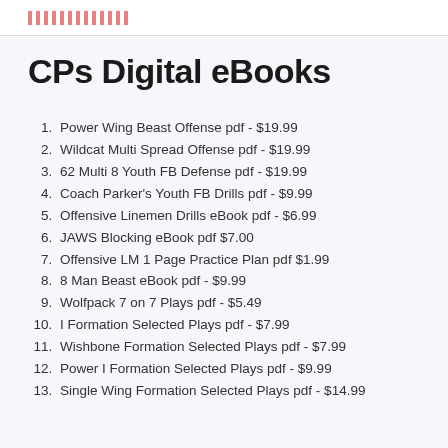CPs Digital eBooks
Power Wing Beast Offense pdf - $19.99
Wildcat Multi Spread Offense pdf - $19.99
62 Multi 8 Youth FB Defense pdf - $19.99
Coach Parker's Youth FB Drills pdf - $9.99
Offensive Linemen Drills eBook pdf - $6.99
JAWS Blocking eBook pdf $7.00
Offensive LM 1 Page Practice Plan pdf $1.99
8 Man Beast eBook pdf - $9.99
Wolfpack 7 on 7 Plays pdf - $5.49
I Formation Selected Plays pdf - $7.99
Wishbone Formation Selected Plays pdf - $7.99
Power I Formation Selected Plays pdf - $9.99
Single Wing Formation Selected Plays pdf - $14.99